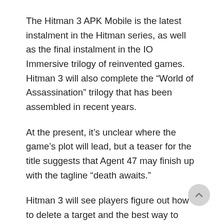The Hitman 3 APK Mobile is the latest instalment in the Hitman series, as well as the final instalment in the IO Immersive trilogy of reinvented games. Hitman 3 will also complete the “World of Assassination” trilogy that has been assembled in recent years.
At the present, it’s unclear where the game’s plot will lead, but a teaser for the title suggests that Agent 47 may finish up with the tagline “death awaits.”
Hitman 3 will see players figure out how to delete a target and the best way to execute it, just as the previous two Hitman games. Tavis Barbour, IO Interactive’s main community manager, wrote about gaming in a blog post. It ‘encourages players to experience and participate with the world of games in a variety of ways, which will reward them in future gameplays,’ according to the company.